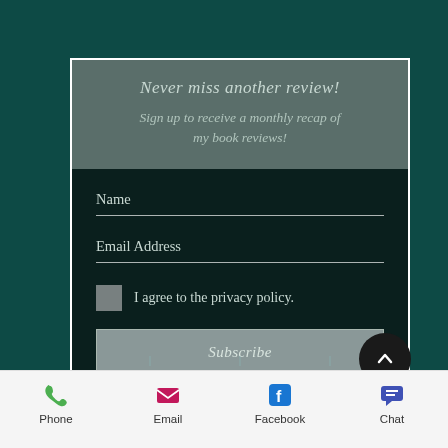Never miss another review!
Sign up to receive a monthly recap of my book reviews!
Name
Email Address
I agree to the privacy policy.
Subscribe
Phone  Email  Facebook  Chat